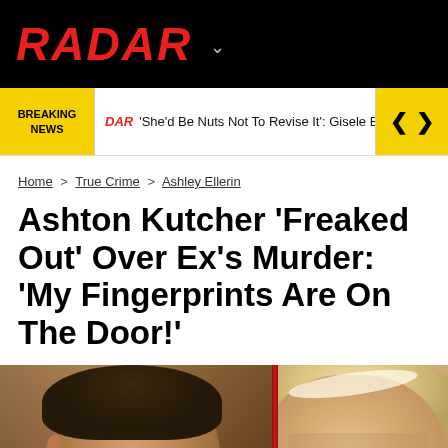RADAR
BREAKING NEWS | DAR 'She'd Be Nuts Not To Revise It': Gisele Bündchen's Pals
Home > True Crime > Ashley Ellerin
Ashton Kutcher 'Freaked Out' Over Ex's Murder: 'My Fingerprints Are On The Door!'
[Figure (photo): Photo of Ashton Kutcher on the left and Ashley Ellerin on the right, split by a red vertical divider]